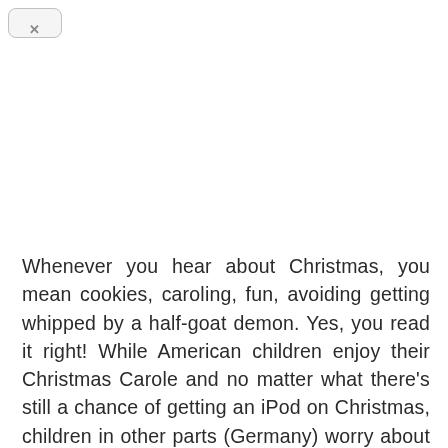[Figure (screenshot): A rounded rectangle UI button element resembling a close/back button in the top-left corner of a browser or app interface, with an X symbol inside.]
Whenever you hear about Christmas, you mean cookies, caroling, fun, avoiding getting whipped by a half-goat demon. Yes, you read it right! While American children enjoy their Christmas Carole and no matter what there's still a chance of getting an iPod on Christmas, children in other parts (Germany) worry about Krampus which is